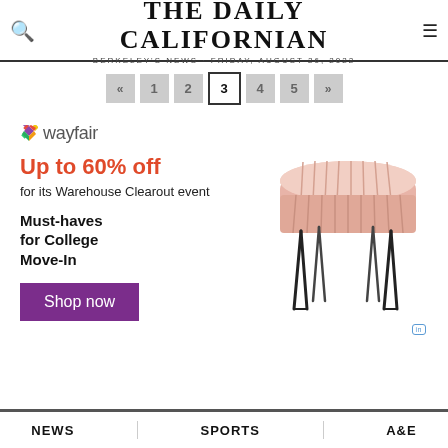THE DAILY CALIFORNIAN — BERKELEY'S NEWS · FRIDAY, AUGUST 26, 2022
« 1 2 3 4 5 »
[Figure (infographic): Wayfair advertisement: Up to 60% off for its Warehouse Clearout event. Must-haves for College Move-In. Shop now. Features a pink tufted ottoman with black hairpin legs.]
NEWS   SPORTS   A&E